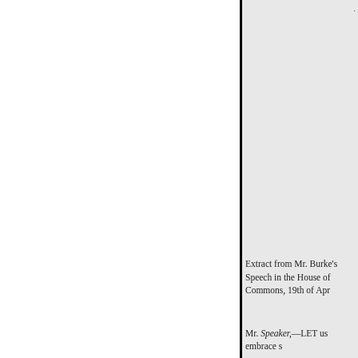Extract from Mr. Burke's Speech in the House of Commons, 19th of Apr
Mr. Speaker,—LET us embrace s